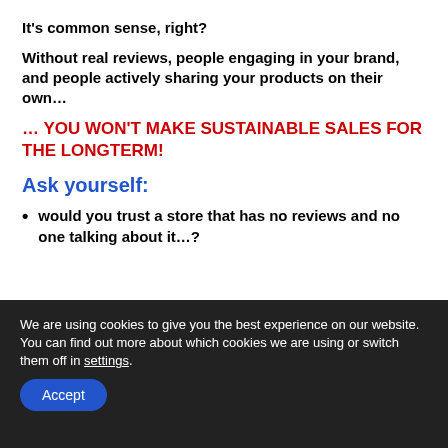It's common sense, right?
Without real reviews, people engaging in your brand, and people actively sharing your products on their own…
… YOU WON'T MAKE SUSTAINABLE SALES FOR THE LONGTERM!
Ask yourself:
would you trust a store that has no reviews and no one talking about it…?
We are using cookies to give you the best experience on our website.
You can find out more about which cookies we are using or switch them off in settings.
Accept